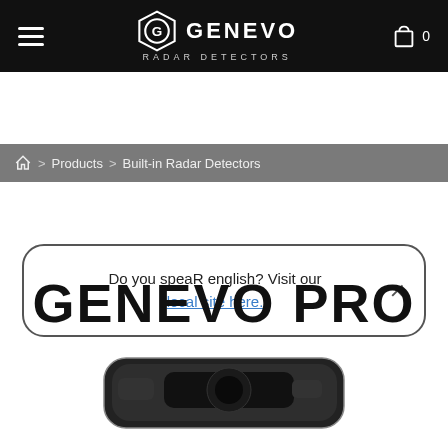GENEVO RADAR DETECTORS
Home > Products > Built-in Radar Detectors
Do you speak english? Visit our local site here.
GENEVO PRO
[Figure (photo): Close-up of the Genevo Pro radar detector device, dark rounded rectangular shape]